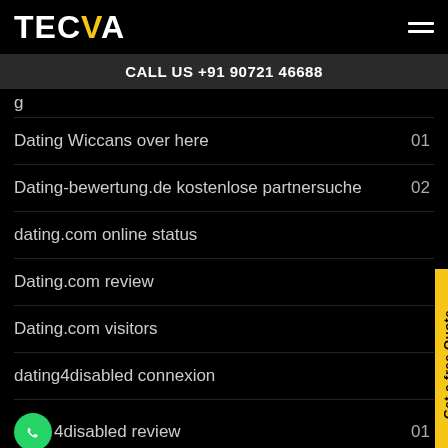TECVA
CALL US +91 90721 46688
Dating Wiccans over here  01
Dating-bewertung.de kostenlose partnersuche  02
dating.com online status
Dating.com review
Dating.com visitors
dating4disabled connexion
dating4disabled review  01
dating4disabled sign in  01
dating4disabled-inceleme visitors  01